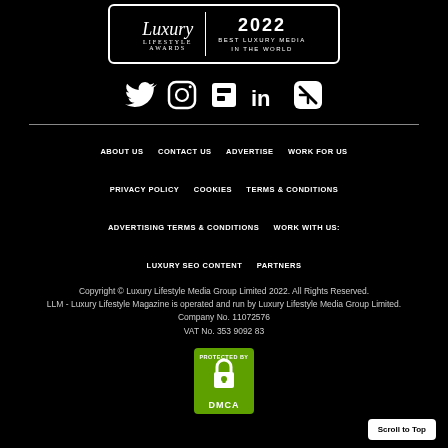[Figure (logo): Luxury Lifestyle Awards 2022 — Best Luxury Media in the World award logo in a white-bordered box]
[Figure (illustration): Social media icons: Twitter, Instagram, Flipboard, LinkedIn, Apple News]
ABOUT US    CONTACT US    ADVERTISE    WORK FOR US
PRIVACY POLICY    COOKIES    TERMS & CONDITIONS
ADVERTISING TERMS & CONDITIONS    WORK WITH US:
LUXURY SEO CONTENT    PARTNERS
Copyright © Luxury Lifestyle Media Group Limited 2022. All Rights Reserved.
LLM - Luxury Lifestyle Magazine is operated and run by Luxury Lifestyle Media Group Limited.
Company No. 11072576
VAT No. 353 9092 83
[Figure (logo): DMCA Protected badge — green icon with padlock and DMCA text]
Scroll to Top